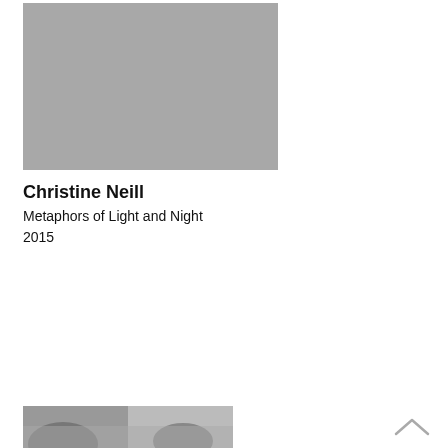[Figure (photo): Large gray/neutral colored square image placeholder, approximately square, occupying top-left area of page]
Christine Neill
Metaphors of Light and Night
2015
[Figure (photo): Black and white photograph partially visible at the bottom of the page, showing what appears to be a landscape or architectural scene, cropped]
[Figure (illustration): Small upward-pointing chevron/caret arrow icon in gray, positioned at bottom right of page]